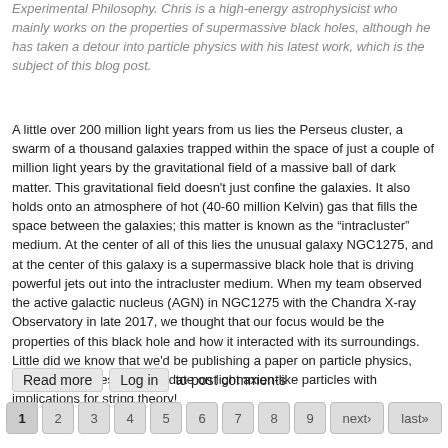Experimental Philosophy. Chris is a high-energy astrophysicist who mainly works on the properties of supermassive black holes, although he has taken a detour into particle physics with his latest work, which is the subject of this blog post.
A little over 200 million light years from us lies the Perseus cluster, a swarm of a thousand galaxies trapped within the space of just a couple of million light years by the gravitational field of a massive ball of dark matter. This gravitational field doesn't just confine the galaxies. It also holds onto an atmosphere of hot (40-60 million Kelvin) gas that fills the space between the galaxies; this matter is known as the “intracluster” medium. At the center of all of this lies the unusual galaxy NGC1275, and at the center of this galaxy is a supermassive black hole that is driving powerful jets out into the intracluster medium. When my team observed the active galactic nucleus (AGN) in NGC1275 with the Chandra X-ray Observatory in late 2017, we thought that our focus would be the properties of this black hole and how it interacted with its surroundings. Little did we know that we'd be publishing a paper on particle physics, setting the tightest limits to date on light axion-like particles with implications for string theory!
Read more  Log in  to post comments
1  2  3  4  5  6  7  8  9  next›  last»